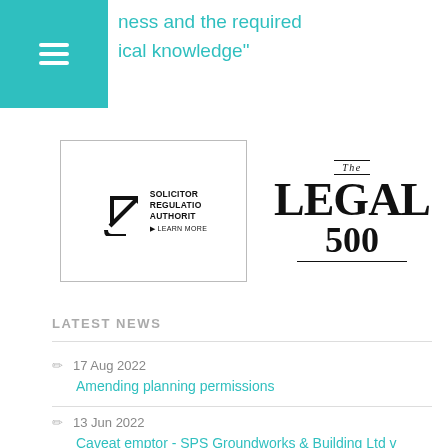ness and the required
ical knowledge"
[Figure (logo): Solicitors Regulation Authority (SRA) logo with arrow icon and 'Learn More' text inside a bordered box]
[Figure (logo): The Legal 500 logo in bold serif typography]
LATEST NEWS
17 Aug 2022
Amending planning permissions
13 Jun 2022
Caveat emptor - SPS Groundworks & Building Ltd v Mahil [2022]